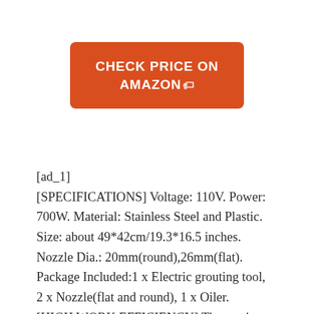[Figure (other): Orange rounded-rectangle button with white bold text reading CHECK PRICE ON AMAZON with a tag icon]
[ad_1] [SPECIFICATIONS] Voltage: 110V. Power: 700W. Material: Stainless Steel and Plastic. Size: about 49*42cm/19.3*16.5 inches. Nozzle Dia.: 20mm(round),26mm(flat). Package Included:1 x Electric grouting tool, 2 x Nozzle(flat and round), 1 x Oiler. [HIGH WORK EFFICIENCY] The semi-